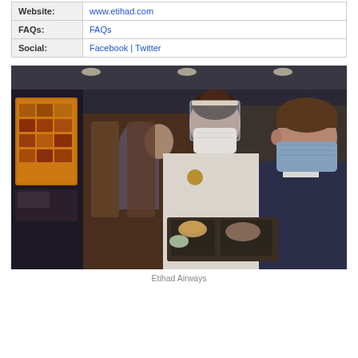| Website: | www.etihad.com |
| FAQs: | FAQs |
| Social: | Facebook | Twitter |
[Figure (photo): Etihad Airways flight attendant wearing a face shield and mask serving a meal tray to a masked passenger in business class cabin. Entertainment screens visible on the left. Other passengers visible in background.]
Etihad Airways